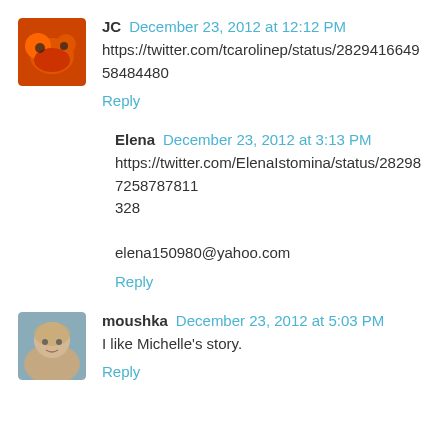JC  December 23, 2012 at 12:12 PM
https://twitter.com/tcarolinep/status/282941664958484480
Reply
Elena  December 23, 2012 at 3:13 PM
https://twitter.com/ElenaIstomina/status/282987258787811328
elena150980@yahoo.com
Reply
moushka  December 23, 2012 at 5:03 PM
I like Michelle's story.
Reply